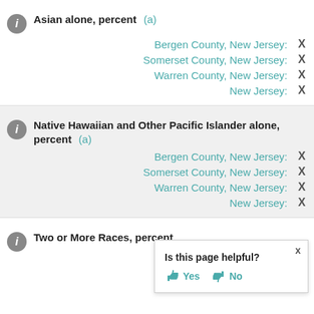Asian alone, percent (a)
Bergen County, New Jersey: X
Somerset County, New Jersey: X
Warren County, New Jersey: X
New Jersey: X
Native Hawaiian and Other Pacific Islander alone, percent (a)
Bergen County, New Jersey: X
Somerset County, New Jersey: X
Warren County, New Jersey: X
New Jersey: X
Two or More Races, percent
Bergen County, New Jersey:
Somerset County, New Jersey:
Is this page helpful? Yes No